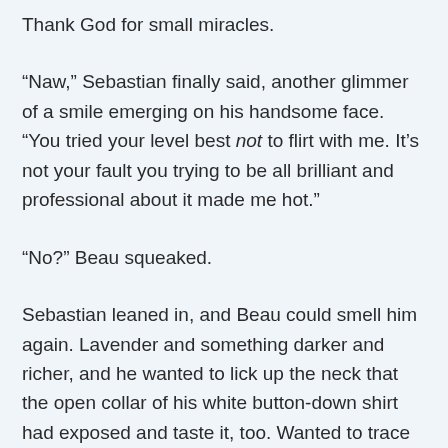Thank God for small miracles.
“Naw,” Sebastian finally said, another glimmer of a smile emerging on his handsome face. “You tried your level best not to flirt with me. It’s not your fault you trying to be all brilliant and professional about it made me hot.”
“No?” Beau squeaked.
Sebastian leaned in, and Beau could smell him again. Lavender and something darker and richer, and he wanted to lick up the neck that the open collar of his white button-down shirt had exposed and taste it, too. Wanted to trace the tattoo peeking out of his collar with his tongue.
Maybe he really shouldn’t have another drink